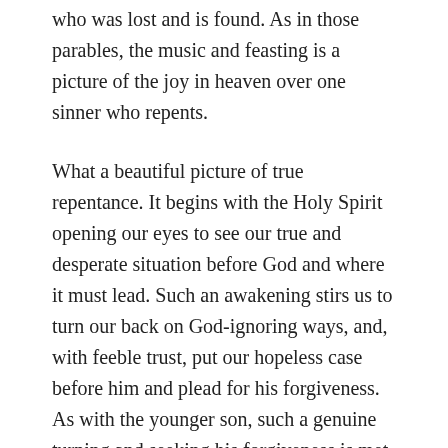who was lost and is found. As in those parables, the music and feasting is a picture of the joy in heaven over one sinner who repents.
What a beautiful picture of true repentance. It begins with the Holy Spirit opening our eyes to see our true and desperate situation before God and where it must lead. Such an awakening stirs us to turn our back on God-ignoring ways, and, with feeble trust, put our hopeless case before him and plead for his forgiveness. As with the younger son, such a genuine turning and seeking his forgiveness is met by the overwhelming mercy and generosity of our heavenly Father. Totally unworthy as we are, he clothes us with